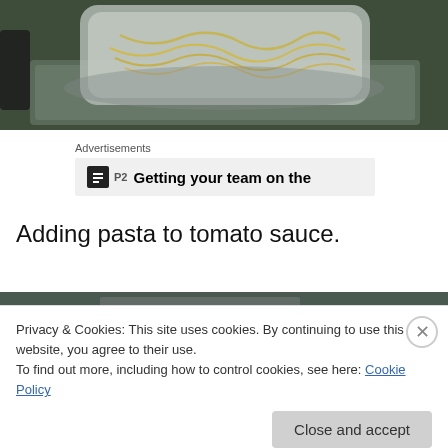[Figure (photo): Photo of pasta noodles in a metal strainer/basket over a metal pan, viewed from above in a kitchen setting]
Advertisements
[Figure (screenshot): Advertisement box with P2 logo and text 'Getting your team on the']
Adding pasta to tomato sauce.
[Figure (photo): Partially visible second food photo at bottom, partially obscured by cookie banner]
Privacy & Cookies: This site uses cookies. By continuing to use this website, you agree to their use.
To find out more, including how to control cookies, see here: Cookie Policy